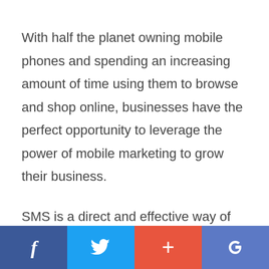With half the planet owning mobile phones and spending an increasing amount of time using them to browse and shop online, businesses have the perfect opportunity to leverage the power of mobile marketing to grow their business.
SMS is a direct and effective way of connecting with existing and potential
[Figure (other): Social media share bar with four buttons: Facebook (dark blue, 'f'), Twitter (light blue, bird icon), Google+ (orange-red, '+'), Google (blue-purple, 'G')]